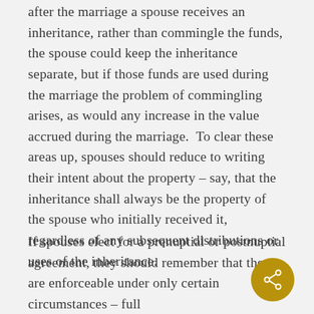after the marriage a spouse receives an inheritance, rather than commingle the funds, the spouse could keep the inheritance separate, but if those funds are used during the marriage the problem of commingling arises, as would any increase in the value accrued during the marriage.  To clear these areas up, spouses should reduce to writing their intent about the property – say, that the inheritance shall always be the property of the spouse who initially received it, regardless of any subsequent distributions or uses of the inheritance.
If spouses elect for a prenuptial or postnuptial agreement, they should remember that they are enforceable under only certain circumstances – full